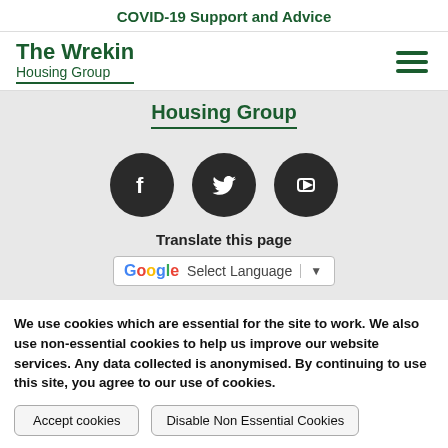COVID-19 Support and Advice
[Figure (logo): The Wrekin Housing Group logo with hamburger menu icon]
Housing Group
[Figure (illustration): Social media icons: Facebook, Twitter, YouTube]
Translate this page
[Figure (screenshot): Google Translate Select Language dropdown widget]
We use cookies which are essential for the site to work. We also use non-essential cookies to help us improve our website services. Any data collected is anonymised. By continuing to use this site, you agree to our use of cookies.
Accept cookies | Disable Non Essential Cookies